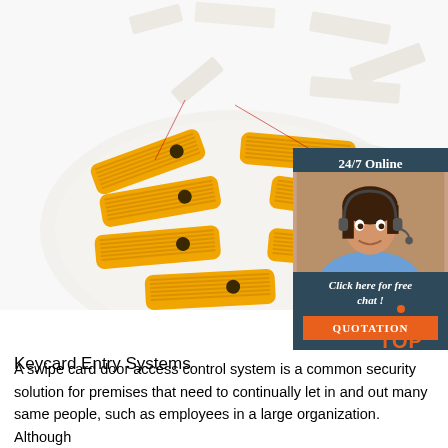[Figure (photo): Product photo of RFID keycard inlays (yellow antenna coils on white substrate) and white blank card stock pieces arranged on a white background, with thin red indicator lines pointing to components.]
[Figure (photo): Sidebar advertisement box with dark teal background showing '24/7 Online' text at top, a photo of a smiling female customer service agent wearing a headset, italic text 'Click here for free chat !' and an orange button labeled 'QUOTATION'.]
[Figure (infographic): Small 'TOP' badge icon with orange dots arranged in a triangle above bold orange 'TOP' text, positioned in the lower right area of the page.]
Keycard Entry Systems
A swipe card door access control system is a common security solution for premises that need to continually let in and out many same people, such as employees in a large organization. Although